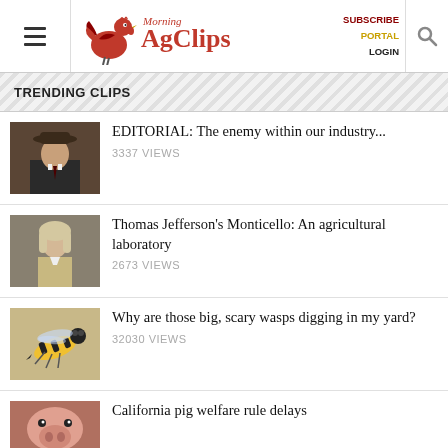Morning AgClips — SUBSCRIBE PORTAL LOGIN
TRENDING CLIPS
[Figure (photo): Portrait photo of a man in a cowboy hat and suit]
EDITORIAL: The enemy within our industry...
3337 VIEWS
[Figure (photo): Portrait painting of Thomas Jefferson]
Thomas Jefferson's Monticello: An agricultural laboratory
2673 VIEWS
[Figure (photo): Close-up photo of a large wasp]
Why are those big, scary wasps digging in my yard?
32030 VIEWS
[Figure (photo): Photo of a pig]
California pig welfare rule delays